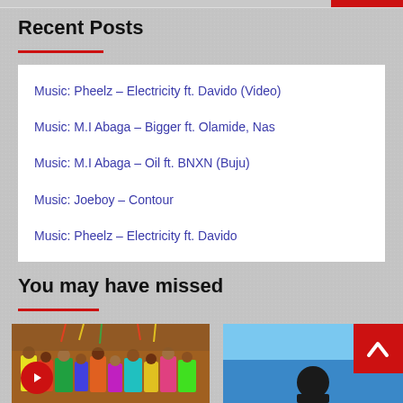Recent Posts
Music: Pheelz – Electricity ft. Davido (Video)
Music: M.I Abaga – Bigger ft. Olamide, Nas
Music: M.I Abaga – Oil ft. BNXN (Buju)
Music: Joeboy – Contour
Music: Pheelz – Electricity ft. Davido
You may have missed
[Figure (photo): Crowd at a music event/concert with colorful clothing]
[Figure (photo): Person against blue sky background, with red button/badge overlay]